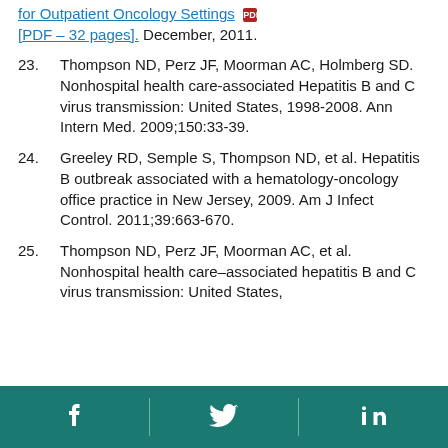[PDF – 32 pages]. December, 2011.
23. Thompson ND, Perz JF, Moorman AC, Holmberg SD. Nonhospital health care-associated Hepatitis B and C virus transmission: United States, 1998-2008. Ann Intern Med. 2009;150:33-39.
24. Greeley RD, Semple S, Thompson ND, et al. Hepatitis B outbreak associated with a hematology-oncology office practice in New Jersey, 2009. Am J Infect Control. 2011;39:663-670.
25. Thompson ND, Perz JF, Moorman AC, et al. Nonhospital health care–associated hepatitis B and C virus transmission: United States,
social media footer icons: Facebook, Twitter, LinkedIn